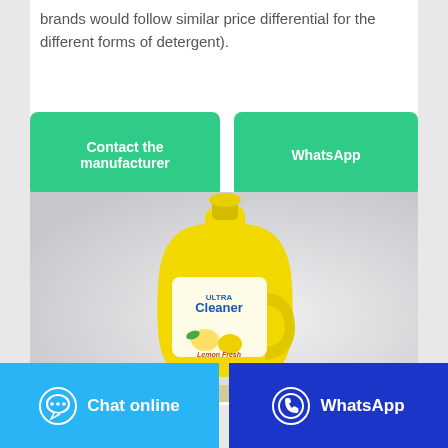brands would follow similar price differential for the different forms of detergent).
[Figure (other): Two green rounded-rectangle buttons side by side: 'Contact the manufacturer' on the left and 'WhatsApp' on the right]
[Figure (photo): A yellow plastic bottle of detergent/cleaner with a handle and a label showing 'Cleaner' and lemon imagery, photographed on a light grey background]
[Figure (other): Bottom navigation bar with two buttons: a light blue 'Chat online' button with a chat bubble icon on the left, and a dark blue 'WhatsApp' button with a WhatsApp/phone icon on the right]